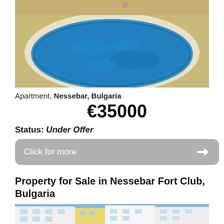[Figure (photo): Aerial view of a circular swimming pool with blue water]
Apartment, Nessebar, Bulgaria
€35000
Status: Under Offer
Click for more
Property for Sale in Nessebar Fort Club, Bulgaria
[Figure (photo): Exterior photo of apartment buildings with white and yellow facades]